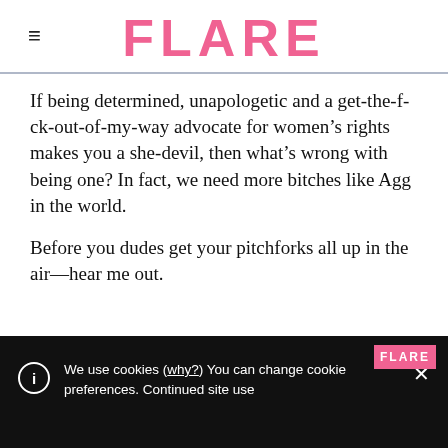FLARE
If being determined, unapologetic and a get-the-f-ck-out-of-my-way advocate for women’s rights makes you a she-devil, then what’s wrong with being one? In fact, we need more bitches like Agg in the world.
Before you dudes get your pitchforks all up in the air—hear me out.
[Figure (screenshot): Dark cookie consent banner at bottom of page with Flare logo, info icon, cookie notice text with underlined 'why?' link, and X close button.]